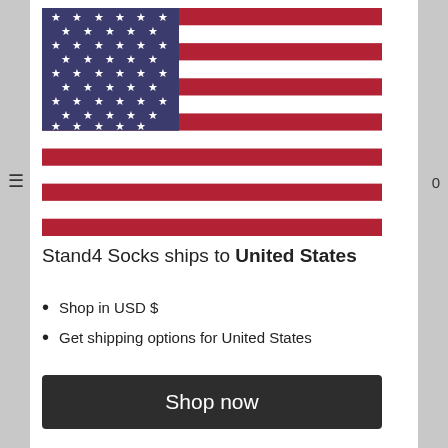[Figure (illustration): US flag illustration: blue canton with white stars on top-left, red and white horizontal stripes across the full flag]
Stand4 Socks ships to United States
Shop in USD $
Get shipping options for United States
Shop now